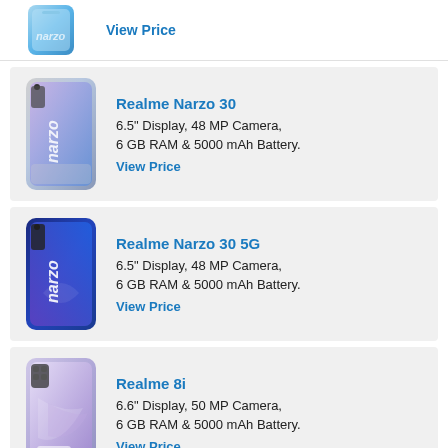[Figure (photo): Realme phone (top, partially visible) - blue/silver color]
View Price
[Figure (photo): Realme Narzo 30 phone - silver/chrome with narzo branding]
Realme Narzo 30
6.5" Display, 48 MP Camera, 6 GB RAM & 5000 mAh Battery.
View Price
[Figure (photo): Realme Narzo 30 5G phone - dark blue with narzo branding]
Realme Narzo 30 5G
6.5" Display, 48 MP Camera, 6 GB RAM & 5000 mAh Battery.
View Price
[Figure (photo): Realme 8i phone - silver/purple with realme branding]
Realme 8i
6.6" Display, 50 MP Camera, 6 GB RAM & 5000 mAh Battery.
View Price